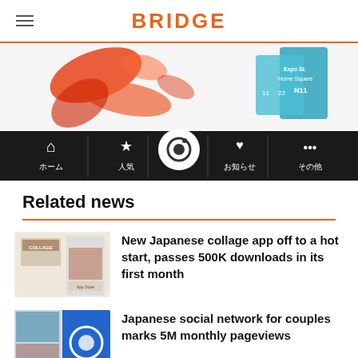BRIDGE
[Figure (screenshot): Mobile app screenshot showing a Japanese photo app with a tab bar containing icons for home (ホーム), popular (人気), camera, notifications (お知らせ), and more (その他).]
Related news
New Japanese collage app off to a hot start, passes 500K downloads in its first month
Japanese social network for couples marks 5M monthly pageviews